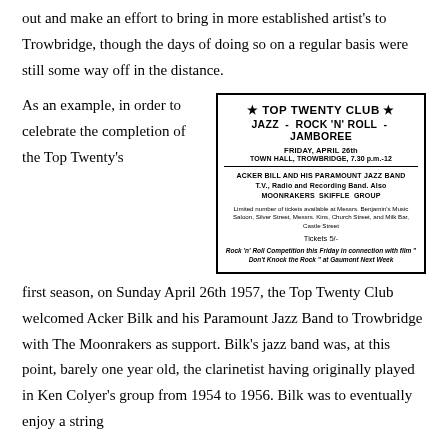out and make an effort to bring in more established artist's to Trowbridge, though the days of doing so on a regular basis were still some way off in the distance.
As an example, in order to celebrate the completion of the Top Twenty's first season, on Sunday April 26th 1957, the Top Twenty Club welcomed Acker Bilk and his Paramount Jazz Band to Trowbridge with The Moonrakers as support. Bilk's jazz band was, at this point, barely one year old, the clarinetist having originally played in Ken Colyer's group from 1954 to 1956. Bilk was to eventually enjoy a string
[Figure (other): Advertisement for Top Twenty Club: Jazz - Rock 'N' Roll - Jamboree, Friday April 26th, Town Hall Trowbridge 7.30 p.m.-12, featuring Acker Bill and His Paramount Jazz Band (T.V., Radio and Recording Band), Also Moonrakers Skiffle Group. Limited number of tickets available at Messrs. Benjamin's Music Saloon, Silver Street, Messrs. Kins, Church Street, and Milk Bar, Castle Street. Tickets 5/-. Rock 'n' Roll Competition this Friday in connection with film 'Don't Knock the Rock' at Gaumont Next Week.]